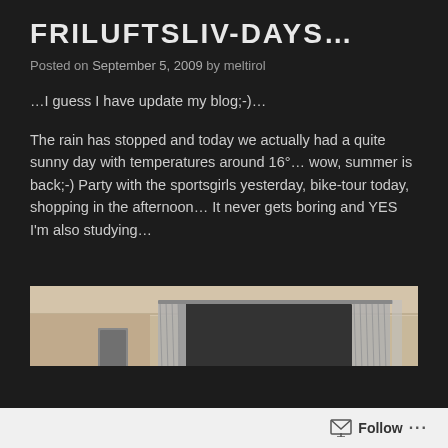FRILUFTSLIV-DAYS...
Posted on September 5, 2009 by meltirol
…I guess I have update my blog;-)…
The rain has stopped and today we actually had a quite sunny day with temperatures around 16°… wow, summer is back;-) Party with the sportsgirls yesterday, bike-tour today, shopping in the afternoon… It never gets boring and YES I'm also studying…
[Figure (photo): Interior room photo showing a window with curtains, a dark roller blind, beige walls and ceiling, and what appears to be a red flower or object in the lower right area]
Follow